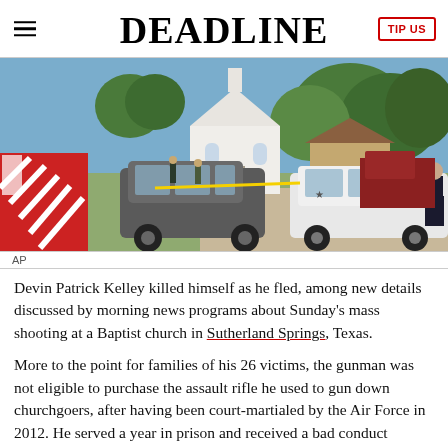DEADLINE
[Figure (photo): Crime scene photo showing police vehicles and law enforcement officers outside a white Baptist church building in Sutherland Springs, Texas. A red and white emergency vehicle is visible on the left, a dark SUV in the center, and a white SUV on the right. Officers stand near the vehicles. Yellow crime scene tape is visible. Trees and a residential house are in the background.]
AP
Devin Patrick Kelley killed himself as he fled, among new details discussed by morning news programs about Sunday’s mass shooting at a Baptist church in Sutherland Springs, Texas.
More to the point for families of his 26 victims, the gunman was not eligible to purchase the assault rifle he used to gun down churchgoers, after having been court-martialed by the Air Force in 2012. He served a year in prison and received a bad conduct